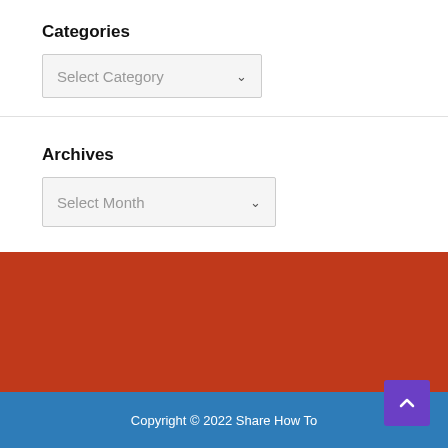Categories
[Figure (screenshot): Dropdown selector labeled 'Select Category' with a chevron arrow]
Archives
[Figure (screenshot): Dropdown selector labeled 'Select Month' with a chevron arrow]
Copyright © 2022 Share How To